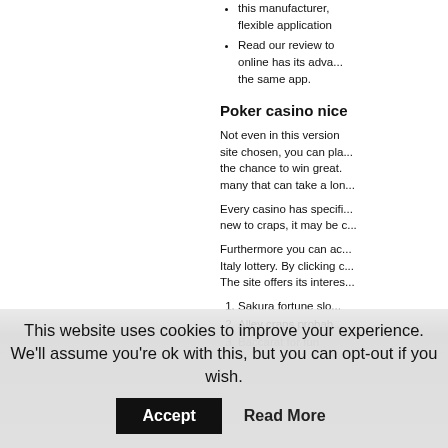this manufacturer, flexible application
Read our review to online has its advantages the same app.
Poker casino nice
Not even in this version site chosen, you can play the chance to win great. many that can take a long
Every casino has specific new to craps, it may be
Furthermore you can access Italy lottery. By clicking on The site offers its interesting
1. Sakura fortune slot
2. Alley craps probability
3. Baccarat for fun
This website uses cookies to improve your experience. We'll assume you're ok with this, but you can opt-out if you wish.